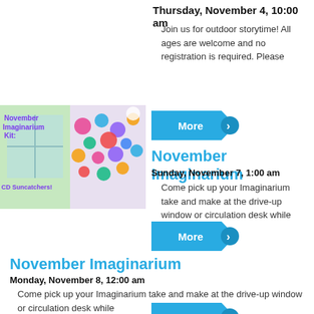Thursday, November 4, 10:00 am
Join us for outdoor storytime! All ages are welcome and no registration is required. Please
[Figure (illustration): November Imaginarium Kit: CD Suncatchers craft kit image with colorful gems and craft supplies]
[Figure (other): More button with chevron arrow, blue]
November Imaginarium
Sunday, November 7, 1:00 am
Come pick up your Imaginarium take and make at the drive-up window or circulation desk while
[Figure (other): More button with chevron arrow, blue]
November Imaginarium
Monday, November 8, 12:00 am
Come pick up your Imaginarium take and make at the drive-up window or circulation desk while
[Figure (other): More button with chevron arrow, blue (partially visible at bottom)]